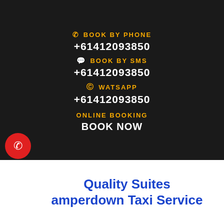BOOK BY PHONE
+61412093850
BOOK BY SMS
+61412093850
WATSAPP
+61412093850
ONLINE BOOKING
BOOK NOW
Quality Suites Camperdown Taxi Service